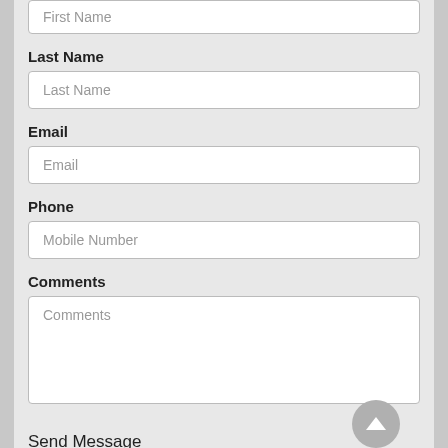First Name
Last Name
Last Name
Email
Email
Phone
Mobile Number
Comments
Comments
Send Message